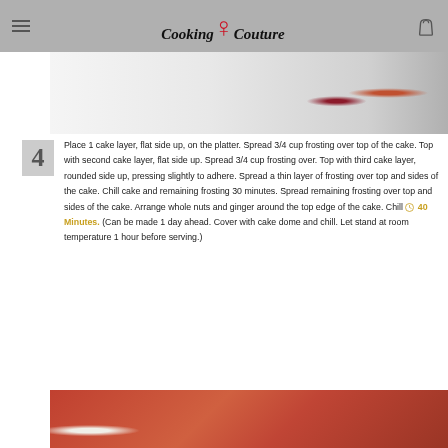Cooking Couture
[Figure (photo): Top portion of a food photo showing fruits and a bowl on a white surface]
Place 1 cake layer, flat side up, on the platter. Spread 3/4 cup frosting over top of the cake. Top with second cake layer, flat side up. Spread 3/4 cup frosting over. Top with third cake layer, rounded side up, pressing slightly to adhere. Spread a thin layer of frosting over top and sides of the cake. Chill cake and remaining frosting 30 minutes. Spread remaining frosting over top and sides of the cake. Arrange whole nuts and ginger around the top edge of the cake. Chill 40 Minutes. (Can be made 1 day ahead. Cover with cake dome and chill. Let stand at room temperature 1 hour before serving.)
[Figure (photo): Bottom portion of a photo showing a person in a red patterned sweater holding a bowl of food]